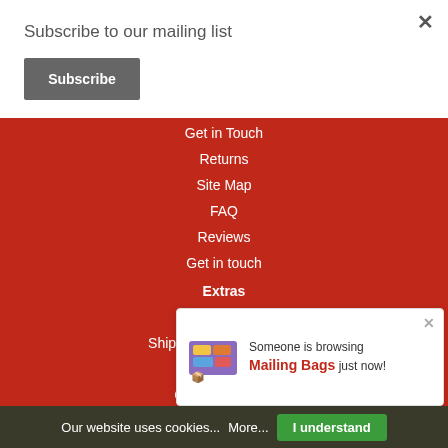Subscribe to our mailing list
Subscribe
Get in Touch
Returns
Site Map
FAQ
Reviews
Get in touch
Extras
Brands
Shipping Info & Charges
Specials
Custom Printing
Terms & Conditions
Someone is browsing Mailing Bags just now!
Our website uses cookies... More... I understand